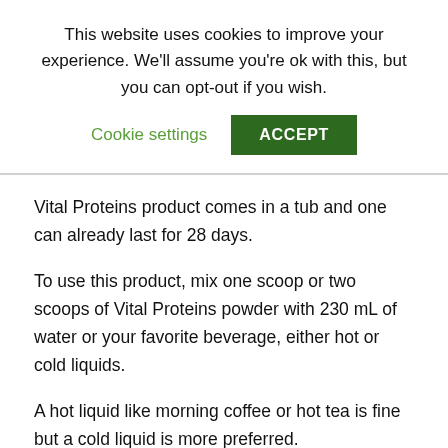This website uses cookies to improve your experience. We'll assume you're ok with this, but you can opt-out if you wish.
Cookie settings | ACCEPT
Vital Proteins product comes in a tub and one can already last for 28 days.
To use this product, mix one scoop or two scoops of Vital Proteins powder with 230 mL of water or your favorite beverage, either hot or cold liquids.
A hot liquid like morning coffee or hot tea is fine but a cold liquid is more preferred.
There are 2 versions of this product, one with vitamin c